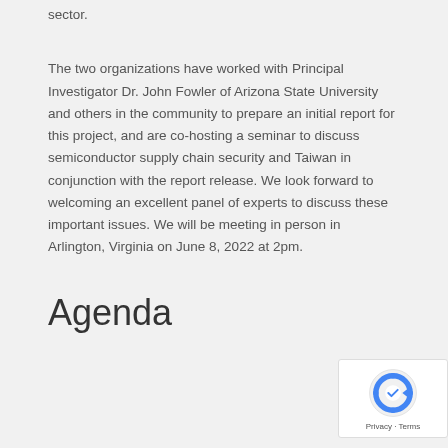sector.
The two organizations have worked with Principal Investigator Dr. John Fowler of Arizona State University and others in the community to prepare an initial report for this project, and are co-hosting a seminar to discuss semiconductor supply chain security and Taiwan in conjunction with the report release. We look forward to welcoming an excellent panel of experts to discuss these important issues. We will be meeting in person in Arlington, Virginia on June 8, 2022 at 2pm.
Agenda
[Figure (logo): reCAPTCHA Privacy - Terms badge]